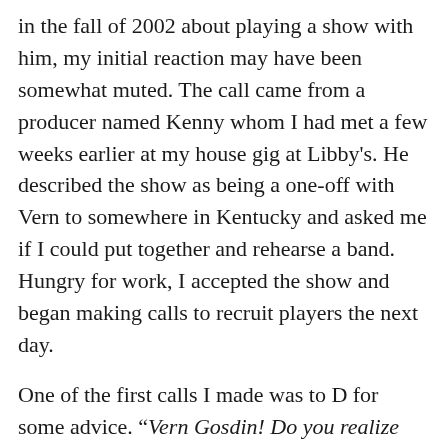in the fall of 2002 about playing a show with him, my initial reaction may have been somewhat muted. The call came from a producer named Kenny whom I had met a few weeks earlier at my house gig at Libby's. He described the show as being a one-off with Vern to somewhere in Kentucky and asked me if I could put together and rehearse a band. Hungry for work, I accepted the show and began making calls to recruit players the next day.

One of the first calls I made was to D for some advice. "Vern Gosdin! Do you realize who he is?" he replied in amazement. "Well I know he had some success a few years back." I replied unknowingly. "They call him 'the voice' of country. It's like getting a gig with Merle Haggard. I've been here 10 years and I've never got to play with him." a hint of jealousy riddled his voice. "He's a real